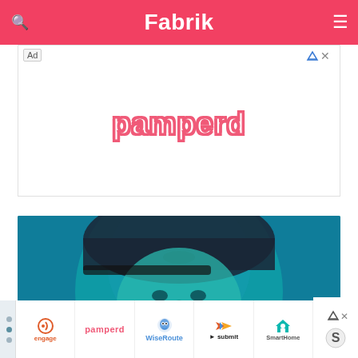Fabrik
[Figure (screenshot): Advertisement banner with 'pamperd' logo text in pink/red gradient with white fill and stroke outline, centered on white background. Ad label and close icons in top corners.]
[Figure (photo): Teal/blue toned photo of a man wearing a Nike cap, face visible, blue-green color overlay]
[Figure (screenshot): Bottom advertisement strip showing logos: engage (orange), pamperd (pink), WiseRoute (blue owl), submit (colorful arrow), SmartHome (teal icon). Navigation dots on left, AdChoices icons on right.]